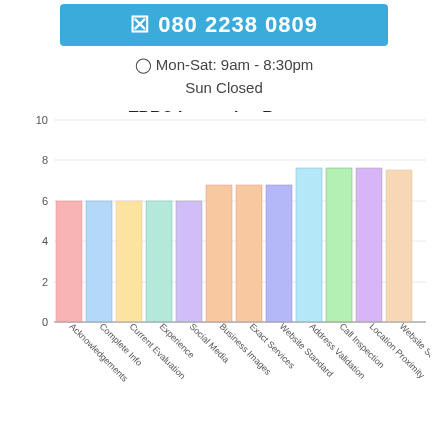📞 080 2238 0809
🕐 Mon-Sat: 9am - 8:30pm
Sun Closed
TBR® Inspection Report:
[Figure (bar-chart): TBR® Inspection Report:]